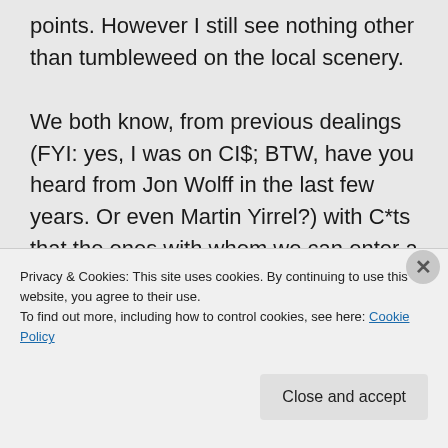points. However I still see nothing other than tumbleweed on the local scenery. We both know, from previous dealings (FYI: yes, I was on CI$; BTW, have you heard from Jon Wolff in the last few years. Or even Martin Yirrel?) with C*ts that the ones with whom we can enter a constructive dialogue are NOT the ones at the core of the problem : the
Privacy & Cookies: This site uses cookies. By continuing to use this website, you agree to their use.
To find out more, including how to control cookies, see here: Cookie Policy